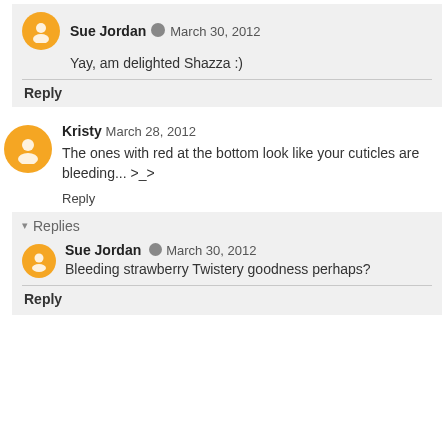Sue Jordan · March 30, 2012
Yay, am delighted Shazza :)
Reply
Kristy March 28, 2012
The ones with red at the bottom look like your cuticles are bleeding... >_>
Reply
Replies
Sue Jordan · March 30, 2012
Bleeding strawberry Twistery goodness perhaps?
Reply